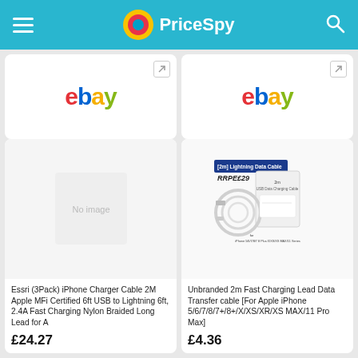PriceSpy
[Figure (screenshot): eBay logo in top-left product card (partially visible)]
[Figure (screenshot): eBay logo in top-right product card (partially visible)]
[Figure (photo): Placeholder image for Essri 3Pack iPhone Charger Cable product]
Essri (3Pack) iPhone Charger Cable 2M Apple MFi Certified 6ft USB to Lightning 6ft, 2.4A Fast Charging Nylon Braided Long Lead for A
£24.27
[Figure (photo): Product image for Unbranded 2m Fast Charging Lead Data Transfer cable, showing white cable packaging with text [2m] Lightning Data Cable, RRPE29, iPhone 5/6/7/8/7+ 8 Plus X/XS/XS MAX/11 Series]
Unbranded 2m Fast Charging Lead Data Transfer cable [For Apple iPhone 5/6/7/8/7+/8+/X/XS/XR/XS MAX/11 Pro Max]
£4.36